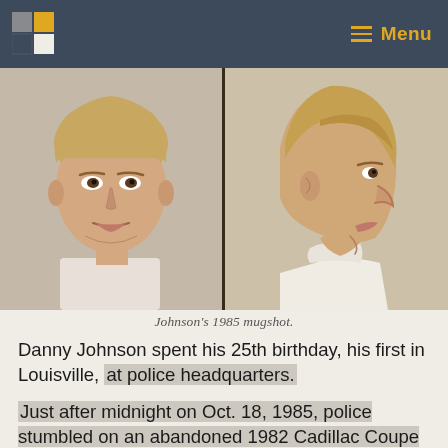Menu
[Figure (photo): Johnson's 1985 mugshot — two police booking photos side by side: front-facing and side profile of a young blonde man]
Johnson's 1985 mugshot.
Danny Johnson spent his 25th birthday, his first in Louisville, at police headquarters.
Just after midnight on Oct. 18, 1985, police stumbled on an abandoned 1982 Cadillac Coupe de Ville in Cox Park, next to the Ohio River. Two people ran away as police